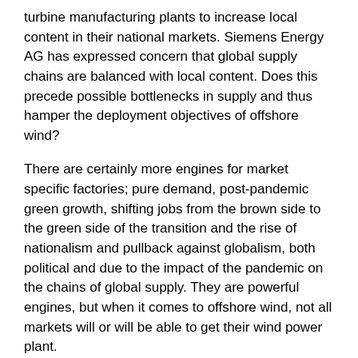turbine manufacturing plants to increase local content in their national markets. Siemens Energy AG has expressed concern that global supply chains are balanced with local content. Does this precede possible bottlenecks in supply and thus hamper the deployment objectives of offshore wind?
There are certainly more engines for market specific factories; pure demand, post-pandemic green growth, shifting jobs from the brown side to the green side of the transition and the rise of nationalism and pullback against globalism, both political and due to the impact of the pandemic on the chains of global supply. They are powerful engines, but when it comes to offshore wind, not all markets will or will be able to get their wind power plant.
There are a number of factors that will dictate whether or not a foundation is laid in a new wind turbine plant.
OEMs will make these investment decisions not necessarily on the basis of an individual country, but often from a broader regional market perspective. You only build a factory once and